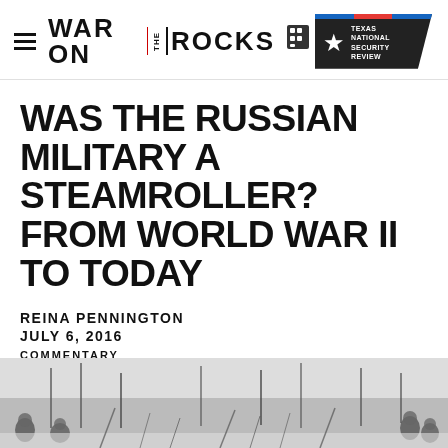War on the Rocks
WAS THE RUSSIAN MILITARY A STEAMROLLER? FROM WORLD WAR II TO TODAY
REINA PENNINGTON
JULY 6, 2016
COMMENTARY
[Figure (photo): Black and white photograph of soldiers in a snowy winter landscape, appearing to be from World War II era, with bare trees and snow-covered ground]